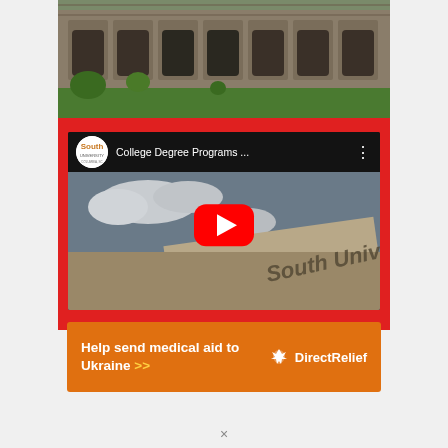[Figure (screenshot): South University advertisement card with red background. Top portion shows a campus photo of a stone building with arches and green lawn. Below is a YouTube video thumbnail titled 'College Degree Programs ...' with South University logo, a red play button overlay, and the South University building sign visible in the background.]
[Figure (screenshot): Orange banner advertisement: 'Help send medical aid to Ukraine >>' with Direct Relief logo on the right.]
×